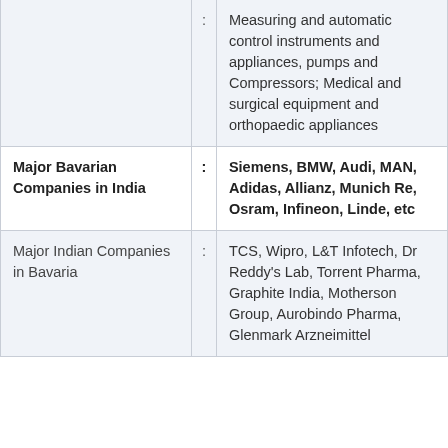|  | : | Measuring and automatic control instruments and appliances, pumps and Compressors; Medical and surgical equipment and orthopaedic appliances |
| Major Bavarian Companies in India | : | Siemens, BMW, Audi, MAN, Adidas, Allianz, Munich Re, Osram, Infineon, Linde, etc |
| Major Indian Companies in Bavaria | : | TCS, Wipro, L&T Infotech, Dr Reddy's Lab, Torrent Pharma, Graphite India, Motherson Group, Aurobindo Pharma, Glenmark Arzneimittel |